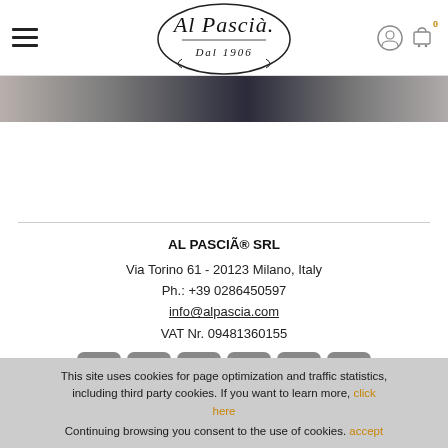[Figure (logo): Al Pascià Dal 1906 logo in oval frame, script font]
[Figure (photo): Partial banner image strip showing dark/grey tones, partially obscured product or store image]
AL PASCIÃ® SRL
Via Torino 61 - 20123 Milano, Italy
Ph.: +39 0286450597
info@alpascia.com
VAT Nr. 09481360155
[Figure (infographic): Row of 6 social media icon buttons: Instagram, Pinterest, YouTube, Facebook, Twitter, Flickr]
This site uses cookies for page optimization and traffic statistics, including third party cookies. If you want to learn more, click here
Continuing browsing you consent to the use of cookies. accept